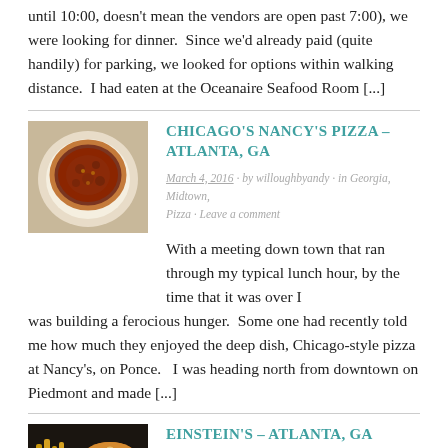until 10:00, doesn't mean the vendors are open past 7:00), we were looking for dinner.  Since we'd already paid (quite handily) for parking, we looked for options within walking distance.  I had eaten at the Oceanaire Seafood Room [...]
CHICAGO'S NANCY'S PIZZA – ATLANTA, GA
March 4, 2016 · by willoughbyandy · in Georgia, Midtown, Pizza · Leave a comment
With a meeting down town that ran through my typical lunch hour, by the time that it was over I was building a ferocious hunger.  Some one had recently told me how much they enjoyed the deep dish, Chicago-style pizza at Nancy's, on Ponce.   I was heading north from downtown on Piedmont and made [...]
EINSTEIN'S – ATLANTA, GA
August 9, 2015 · by willoughbyandy · in Everything Else, Georgia, Midtown · Leave a comment